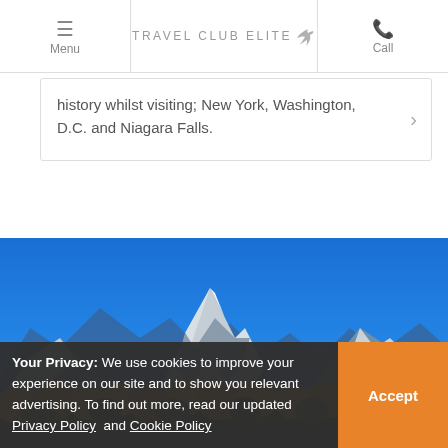Menu | TRAVEL CLUB ELITE | Call
history whilst visiting; New York, Washington, D.C. and Niagara Falls.
[Figure (photo): Mountain landscape with snow-capped peaks, blue sky, and golden autumn foliage in the foreground]
Your Privacy: We use cookies to improve your experience on our site and to show you relevant advertising. To find out more, read our updated Privacy Policy and Cookie Policy